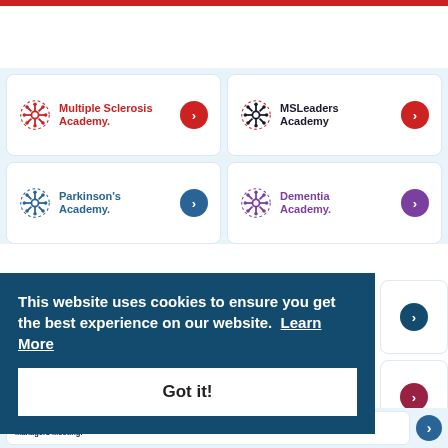[Figure (logo): Red horizontal bar at top of page]
[Figure (logo): Multiple Sclerosis Academy logo with snowflake icon in red, arrow button]
[Figure (logo): MS Leaders Academy logo with snowflake icon in dark, arrow button]
[Figure (logo): Parkinson's Academy logo with snowflake icon in blue, arrow button]
[Figure (logo): Dementia Academy logo with snowflake icon in purple, arrow button]
This website uses cookies to ensure you get the best experience on our website. Learn More
Got it!
[Figure (logo): Neurology Network Managers Meeting logo partially visible at bottom]